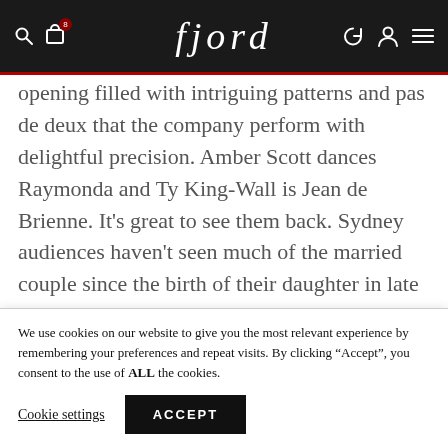fjord
opening filled with intriguing patterns and pas de deux that the company perform with delightful precision. Amber Scott dances Raymonda and Ty King-Wall is Jean de Brienne. It’s great to see them back. Sydney audiences haven’t seen much of the married couple since the birth of their daughter in late 2018, but on the Opera House
We use cookies on our website to give you the most relevant experience by remembering your preferences and repeat visits. By clicking “Accept”, you consent to the use of ALL the cookies.
Cookie settings | ACCEPT